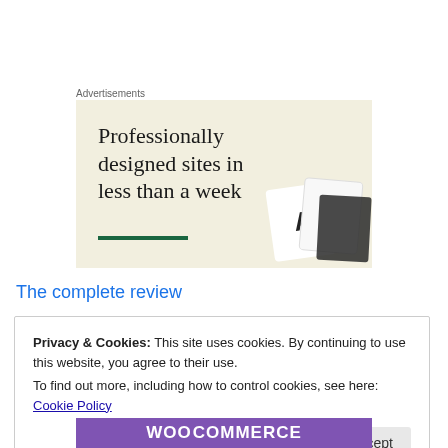Advertisements
[Figure (illustration): Advertisement banner with cream/beige background showing the text 'Professionally designed sites in less than a week' with a green underline bar and device mockup images on the right side.]
The complete review
Privacy & Cookies: This site uses cookies. By continuing to use this website, you agree to their use.
To find out more, including how to control cookies, see here: Cookie Policy
Close and accept
[Figure (logo): WooCommerce logo banner in purple background with white bold text reading 'WOOCOMMERCE']